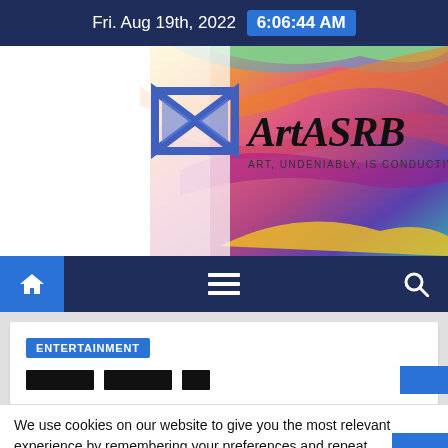Fri. Aug 19th, 2022  6:06:44 AM
[Figure (screenshot): ArtASRB website banner with colorful fluid art background, blue geometric logo on left, site name 'ArtASRB' in bold black serif font, tagline 'ART, UNDENIABLY, IS CONDUCTIVE TO HAPPINESS']
[Figure (screenshot): Navigation bar with home icon (blue highlighted), hamburger menu icon, and search icon on dark navy background]
ENTERTAINMENT
We use cookies on our website to give you the most relevant experience by remembering your preferences and repeat